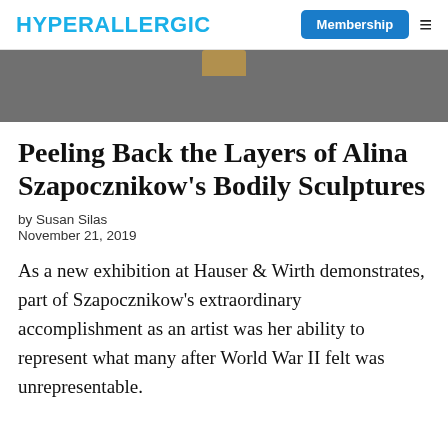HYPERALLERGIC | Membership ☰
[Figure (photo): Partial view of a sculpture on a dark gray background, showing a small tan/golden object at the top]
Peeling Back the Layers of Alina Szapocznikow's Bodily Sculptures
by Susan Silas
November 21, 2019
As a new exhibition at Hauser & Wirth demonstrates, part of Szapocznikow's extraordinary accomplishment as an artist was her ability to represent what many after World War II felt was unrepresentable.